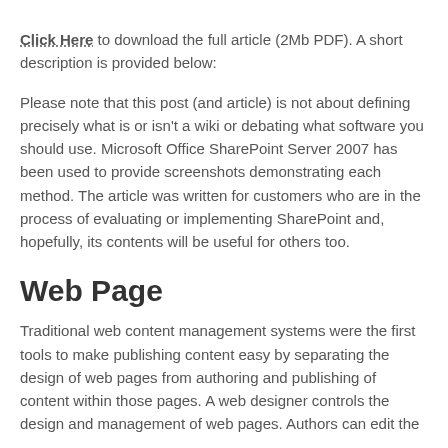Click Here to download the full article (2Mb PDF). A short description is provided below:
Please note that this post (and article) is not about defining precisely what is or isn't a wiki or debating what software you should use. Microsoft Office SharePoint Server 2007 has been used to provide screenshots demonstrating each method. The article was written for customers who are in the process of evaluating or implementing SharePoint and, hopefully, its contents will be useful for others too.
Web Page
Traditional web content management systems were the first tools to make publishing content easy by separating the design of web pages from authoring and publishing of content within those pages. A web designer controls the design and management of web pages. Authors can edit the